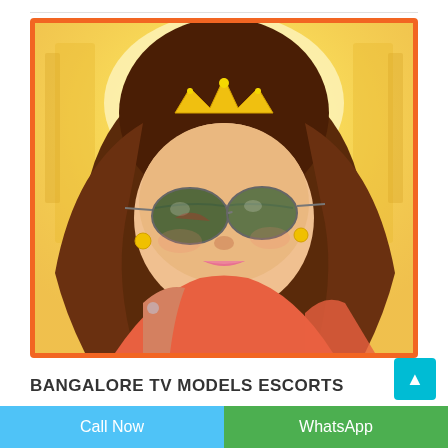[Figure (photo): A young woman wearing sunglasses with dark lenses and a gold crown/tiara headband, wavy brown hair, coral/orange top, gold earrings, smiling at the camera in a selfie-style photo. Bright golden/yellow background with architectural elements.]
BANGALORE TV MODELS ESCORTS
Call Now
WhatsApp